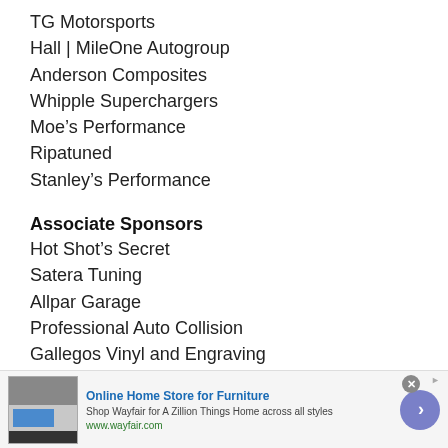TG Motorsports
Hall | MileOne Autogroup
Anderson Composites
Whipple Superchargers
Moe's Performance
Ripatuned
Stanley's Performance
Associate Sponsors
Hot Shot's Secret
Satera Tuning
Allpar Garage
Professional Auto Collision
Gallegos Vinyl and Engraving
Karma Racing Products
[Figure (screenshot): Advertisement banner for Wayfair Online Home Store for Furniture with furniture image, ad text, close button, and arrow button]